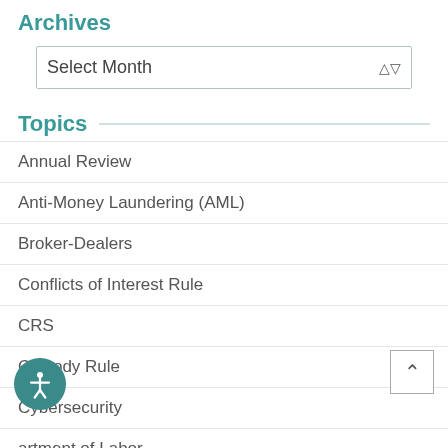Archives
Select Month
Topics
Annual Review
Anti-Money Laundering (AML)
Broker-Dealers
Conflicts of Interest Rule
CRS
Custody Rule
Cybersecurity
Department of Labor
Disclosures